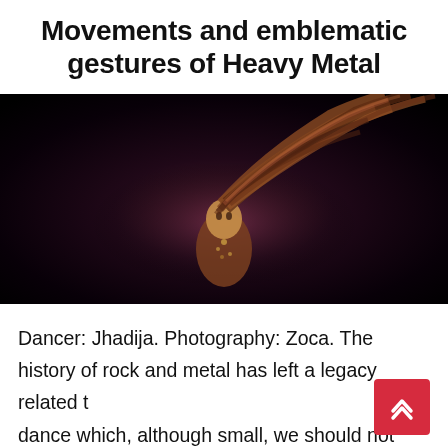Movements and emblematic gestures of Heavy Metal
[Figure (photo): A performer (dancer Jhadija) with long hair whipping dramatically in motion, photographed against a dark background by photographer Zoca. The figure is shown mid-motion with hair fanned out, wearing ornate clothing.]
Dancer: Jhadija. Photography: Zoca. The history of rock and metal has left a legacy related to dance which, although small, we should not underestimate. There are movements and